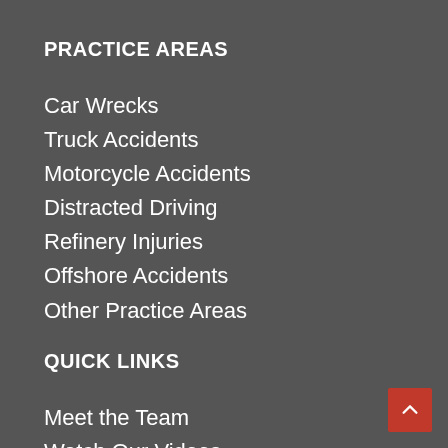PRACTICE AREAS
Car Wrecks
Truck Accidents
Motorcycle Accidents
Distracted Driving
Refinery Injuries
Offshore Accidents
Other Practice Areas
QUICK LINKS
Meet the Team
Watch Our Videos
Read Our Blog
Bike Program
Vive la Vida Newsletter
FAQs